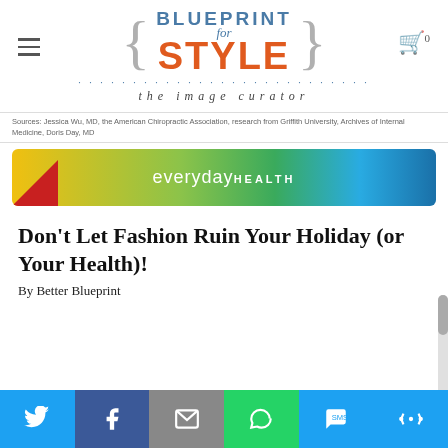[Figure (logo): Blueprint for Style logo with brackets, 'the image curator' tagline]
Sources: Jessica Wu, MD, the American Chiropractic Association, research from Griffith University, Archives of Internal Medicine, Doris Day, MD
[Figure (photo): Everyday Health advertisement banner with colorful gradient background]
Don't Let Fashion Ruin Your Holiday (or Your Health)!
By Better Blueprint